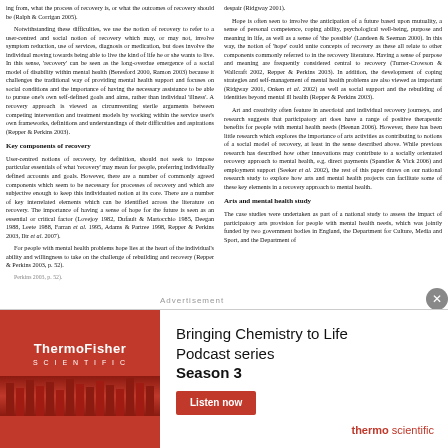ing from, what the process of recovery is, or what the outcomes of recovery should be (Ralph & Corrigan 2005).
Notwithstanding these difficulties, we use the notion of recovery to refer to a user-centred and social notion of recovery which may, or may not, involve symptom reduction, use of services, diagnosis or medication, but does involve the individual moving towards being able to live the kind of life he or she wants to live. In this sense, 'recovery' can be seen as the long-overdue emergence of a social model of disability within mental health (Beresford 2000, Ramon 2003) because it challenges the traditional way of providing mental health support and focuses on social conditions and the importance of having the necessary assistance to be able to pursue one's own self-defined goals and aims, rather than individual 'illness'. A recovery approach is viewed as circumventing sterile arguments between competing intervention and treatment models by working within the service user's own frameworks, definitions and understandings of their difficulties and aspirations (Repper & Perkins 2003).
Key components of recovery
User-centred notions of recovery, by definition, should not seek to impose particular essential sof what 'recovery' may mean for people, preferring individually defined accounts and goals. However, there are a number of commonly agreed components which seem to be necessary for processes of recovery and which are subjective enough to keep this individuated notion at its core. There are a number of key interrelated elements which can be identified across the literature on recovery. The importance of having a sense of hope for the future is seen as an essential or critical factor (Lovejoy 1982, Dufault & Martocchio 1985, Deegan 1988, Leete 1988, Farran et al. 1995, Adams & Partree 1998, Repper & Perkins 2003, Iltr et al. 2007).
For people with mental health problems hope lies at the heart of the individual's ability and willingness to take on the challenge of rebuilding and recovery (Repper & Perkins 2003, p. 52).
despair (Ridgway 2001).
Hope is often seen to involve the anticipation of a future based upon mutuality, a sense of personal competence, coping ability, psychological well-being, purpose and meaning in life, as well as a sense of 'the possible' (Landeen & Seeman 2000). In this way, the notion of 'hope' could unite concepts of recovery as these all relate to other components commonly referred to in the recovery literature. Having a sense of purpose and meaning are frequently considered central to recovery (Turner-Crowson & Wallcraft 2002, Repper & Perkins 2003). In addition, the development of coping strategies and self-management of mental health problems are also viewed as important (Ridgway 2001, Onken et al. 2002) as well as social support and the rebuilding of identities beyond mental ill health (Repper & Perkins 2003).
Art and creativity often feature in anecdotal and individual recovery journeys, and research suggests that participatory art does have a range of positive therapeutic benefits for people with mental health needs (Heenan 2006). However, there has been little research which explores the importance of arts activities as contributing to notions of a social model of recovery, at least in the sense described above. While previous research has described how other innovations may contribute to a socially orientated recovery approach to mental health, e.g. direct payments (Spandler & Vick 2006) and employment support (Seeker et al. 2002), the rest of this paper draws on our national research study to explore how arts and mental health projects can facilitate some of these key elements in a recovery approach to mental health.
Arts and mental health study
The case studies were undertaken as part of a national study to assess the impact of participatory arts provision for people with mental health needs, which was jointly funded by two government bodies in England, the Department for Culture, Media and Sport, and the Department of
[Figure (infographic): ThermoFisher Scientific advertisement: 'Bringing Chemistry to Life Podcast series Season 3' with a Listen now button and thermo scientific logo]